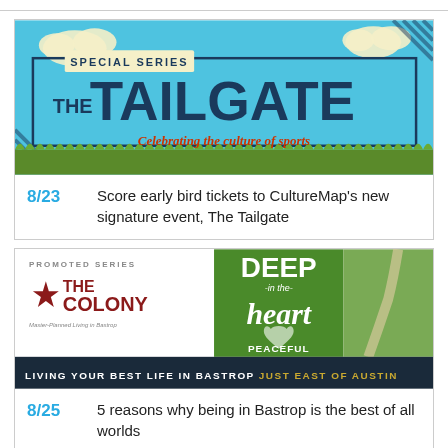[Figure (illustration): The Tailgate special series banner — sky blue background, clouds, grass, large bold dark blue text 'THE TAILGATE', smaller text 'SPECIAL SERIES', italic red text 'Celebrating the culture of sports']
8/23  Score early bird tickets to CultureMap's new signature event, The Tailgate
[Figure (illustration): The Colony promoted series banner — left side white with star logo and 'THE COLONY' text, center green panel with 'DEEP in the heart PEACEFUL', right side outdoor photo, bottom dark banner 'LIVING YOUR BEST LIFE IN BASTROP  JUST EAST OF AUSTIN']
8/25  5 reasons why being in Bastrop is the best of all worlds